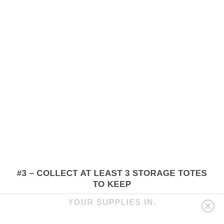#3 – COLLECT AT LEAST 3 STORAGE TOTES TO KEEP YOUR SUPPLIES IN.